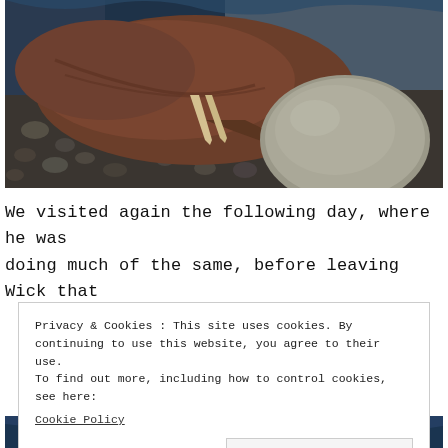[Figure (photo): A walrus resting on a rocky beach with pebbles and a large rounded boulder. The animal appears brown/reddish, photographed close-up on what looks like a Scottish shoreline.]
We visited again the following day, where he was doing much of the same, before leaving Wick that
Privacy & Cookies: This site uses cookies. By continuing to use this website, you agree to their use.
To find out more, including how to control cookies, see here:
Cookie Policy

Close and accept
[Figure (photo): Bottom portion of another photo, dark blue tones suggesting water or the same coastal scene.]